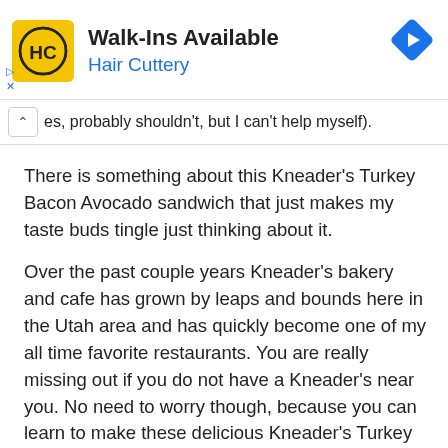[Figure (screenshot): Hair Cuttery advertisement banner with yellow logo showing HC initials, title 'Walk-Ins Available', subtitle 'Hair Cuttery' in blue, and a blue diamond navigation icon on the right.]
es, probably shouldn't, but I can't help myself). There is something about this Kneader's Turkey Bacon Avocado sandwich that just makes my taste buds tingle just thinking about it.
Over the past couple years Kneader's bakery and cafe has grown by leaps and bounds here in the Utah area and has quickly become one of my all time favorite restaurants. You are really missing out if you do not have a Kneader's near you. No need to worry though, because you can learn to make these delicious Kneader's Turkey Bacon Avocado sandwiches in your very own kitchen.